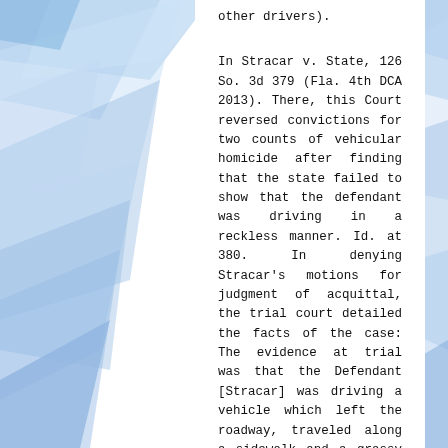other drivers).
In Stracar v. State, 126 So. 3d 379 (Fla. 4th DCA 2013). There, this Court reversed convictions for two counts of vehicular homicide after finding that the state failed to show that the defendant was driving in a reckless manner. Id. at 380. In denying Stracar's motions for judgment of acquittal, the trial court detailed the facts of the case: The evidence at trial was that the Defendant [Stracar] was driving a vehicle which left the roadway, traveled along a sidewalk and a grassy area, crossed a divided roadway and hit a sign which launched the car over a median of the intersecting street and land[ed]